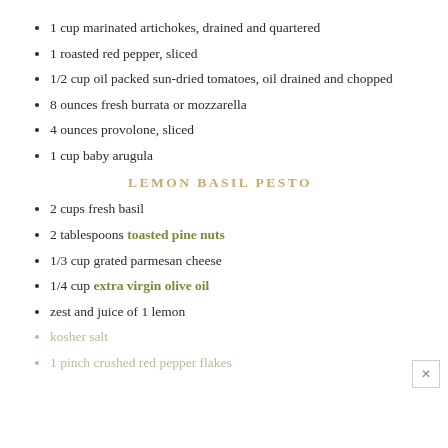1 cup marinated artichokes, drained and quartered
1 roasted red pepper, sliced
1/2 cup oil packed sun-dried tomatoes, oil drained and chopped
8 ounces fresh burrata or mozzarella
4 ounces provolone, sliced
1 cup baby arugula
LEMON BASIL PESTO
2 cups fresh basil
2 tablespoons toasted pine nuts
1/3 cup grated parmesan cheese
1/4 cup extra virgin olive oil
zest and juice of 1 lemon
kosher salt
1 pinch crushed red pepper flakes